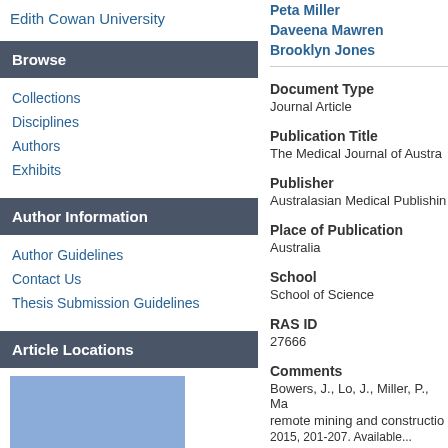Edith Cowan University
Browse
Collections
Disciplines
Authors
Exhibits
Author Information
Author Guidelines
Contact Us
Thesis Submission Guidelines
Article Locations
[Figure (map): Map placeholder showing article location]
Peta Miller
Daveena Mawren
Brooklyn Jones
Document Type
Journal Article
Publication Title
The Medical Journal of Austra...
Publisher
Australasian Medical Publishin...
Place of Publication
Australia
School
School of Science
RAS ID
27666
Comments
Bowers, J., Lo, J., Miller, P., Ma... remote mining and constructio... 2015, 201-207. Available...